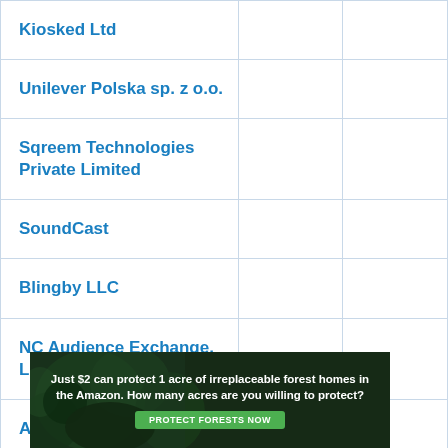| Company |  |  |
| --- | --- | --- |
| Kiosked Ltd |  |  |
| Unilever Polska sp. z o.o. |  |  |
| Sqreem Technologies Private Limited |  |  |
| SoundCast |  |  |
| Blingby LLC |  |  |
| NC Audience Exchange, LLC (NewsIQ) |  |  |
| AA INTERNET-MEDIA Ltd |  |  |
| GroupM UK Limited |  |  |
[Figure (infographic): Advertisement banner: 'Just $2 can protect 1 acre of irreplaceable forest homes in the Amazon. How many acres are you willing to protect?' with a green 'PROTECT FORESTS NOW' button, dark forest background image.]